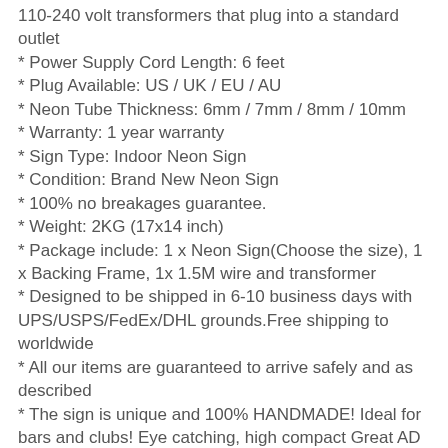110-240 volt transformers that plug into a standard outlet
* Power Supply Cord Length: 6 feet
* Plug Available: US / UK / EU / AU
* Neon Tube Thickness: 6mm / 7mm / 8mm / 10mm
* Warranty: 1 year warranty
* Sign Type: Indoor Neon Sign
* Condition: Brand New Neon Sign
* 100% no breakages guarantee.
* Weight: 2KG (17x14 inch)
* Package include: 1 x Neon Sign(Choose the size), 1 x Backing Frame, 1x 1.5M wire and transformer
* Designed to be shipped in 6-10 business days with UPS/USPS/FedEx/DHL grounds.Free shipping to worldwide
* All our items are guaranteed to arrive safely and as described
* The sign is unique and 100% HANDMADE! Ideal for bars and clubs! Eye catching, high compact Great AD
* Customized Design please Click here>>>>,we can make